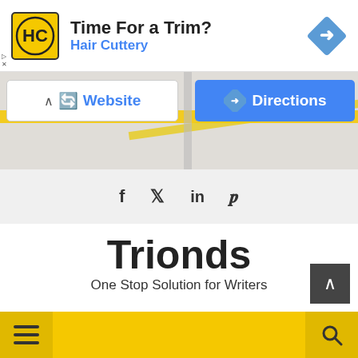[Figure (screenshot): Advertisement banner for Hair Cuttery with logo, 'Time For a Trim?' headline, blue subtitle 'Hair Cuttery', and a blue diamond direction arrow on the right.]
[Figure (screenshot): Map strip with Website and Directions buttons overlaid on a partial map background.]
[Figure (infographic): Social media icons row: Facebook (f), Twitter (bird), LinkedIn (in), Pinterest (p) on gray background.]
Trionds
One Stop Solution for Writers
[Figure (screenshot): Yellow navigation bar with hamburger menu icon on the left and search icon on the right.]